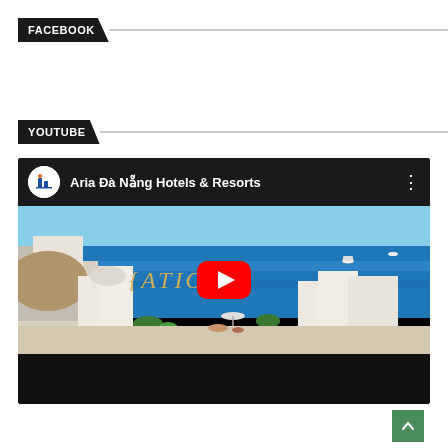FACEBOOK
YOUTUBE
[Figure (screenshot): YouTube embedded player showing channel 'Aria Đà Nẵng Hotels & Resorts' with a thumbnail of a Mediterranean/Santorini-style resort scene, blue sea, white buildings, and a red YouTube play button. Bottom bar is black. A green back-to-top button is in the bottom right corner.]